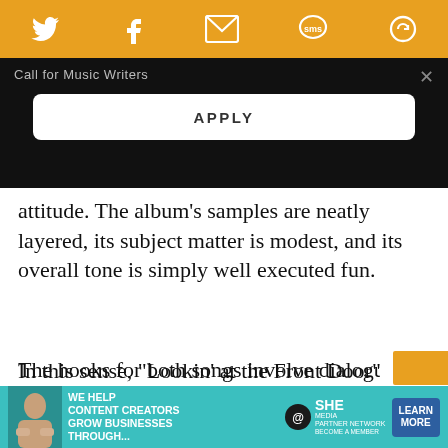[Figure (screenshot): Orange social sharing bar with Twitter, Facebook, email, SMS, and recirculate icons in white]
Call for Music Writers
APPLY
attitude. The album’s samples are neatly layered, its subject matter is modest, and its overall tone is simply well executed fun.
In this sense, “Lookin’ at the Front Door” exemplifies the symmetry between the Mizells and Mitchell. Both the Main Source track and the source cut layer hooks galore within a concise structure. The hooks for both songs involve dialogue:
[Figure (infographic): SHE Partner Network advertisement: We help content creators grow businesses through... with a Learn More button]